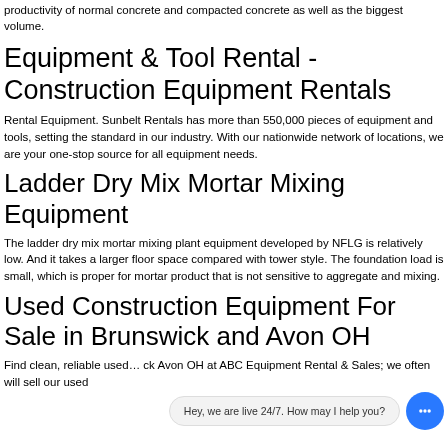productivity of normal concrete and compacted concrete as well as the biggest volume.
Equipment & Tool Rental - Construction Equipment Rentals
Rental Equipment. Sunbelt Rentals has more than 550,000 pieces of equipment and tools, setting the standard in our industry. With our nationwide network of locations, we are your one-stop source for all equipment needs.
Ladder Dry Mix Mortar Mixing Equipment
The ladder dry mix mortar mixing plant equipment developed by NFLG is relatively low. And it takes a larger floor space compared with tower style. The foundation load is small, which is proper for mortar product that is not sensitive to aggregate and mixing.
Used Construction Equipment For Sale in Brunswick and Avon OH
Find clean, reliable use... ck Avon OH at ABC Equipment Rental & Sales; we often will sell our used